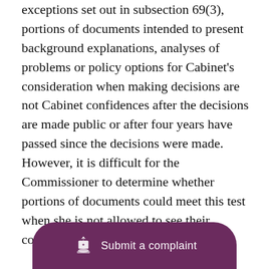exceptions set out in subsection 69(3), portions of documents intended to present background explanations, analyses of problems or policy options for Cabinet's consideration when making decisions are not Cabinet confidences after the decisions are made public or after four years have passed since the decisions were made. However, it is difficult for the Commissioner to determine whether portions of documents could meet this test when she is not allowed to see their contents.
Nonetheless, the Commissioner has, by seeking formal representations from institutions, managed in a number of cases to have further information released. For example, in 2013–2014, the Commissioner's intervention resulted in additional information being disclosed related to proposed changes to skydiving regulations and about Environment... th the Red River flood...
[Figure (other): Purple rounded banner button at the bottom of the page with a Canadian government coat of arms icon and the text 'Submit a complaint']